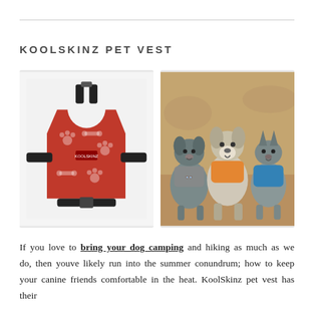KOOLSKINZ PET VEST
[Figure (photo): Left: A red dog vest/harness with white paw print and bone pattern, laid flat showing the full harness shape with buckles and straps. Right: Three dogs sitting side by side wearing colorful harnesses (grey/patterned, orange, and blue), posed outdoors on sandy ground.]
If you love to bring your dog camping and hiking as much as we do, then youve likely run into the summer conundrum; how to keep your canine friends comfortable in the heat. KoolSkinz pet vest has their